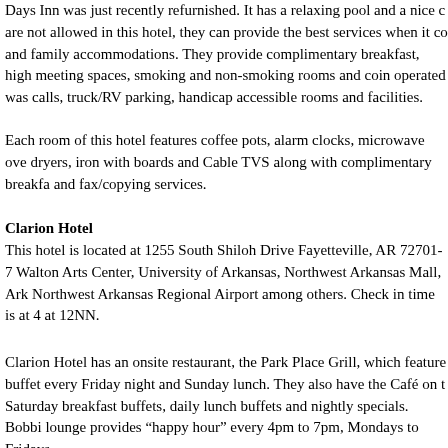Days Inn was just recently refurnished. It has a relaxing pool and a nice c... are not allowed in this hotel, they can provide the best services when it c... and family accommodations. They provide complimentary breakfast, high... meeting spaces, smoking and non-smoking rooms and coin operated was... calls, truck/RV parking, handicap accessible rooms and facilities.
Each room of this hotel features coffee pots, alarm clocks, microwave ove... dryers, iron with boards and Cable TVS along with complimentary breakfa... and fax/copying services.
Clarion Hotel
This hotel is located at 1255 South Shiloh Drive Fayetteville, AR 72701-7... Walton Arts Center, University of Arkansas, Northwest Arkansas Mall, Ark... Northwest Arkansas Regional Airport among others. Check in time is at 4... at 12NN.
Clarion Hotel has an onsite restaurant, the Park Place Grill, which feature... buffet every Friday night and Sunday lunch. They also have the Café on t... Saturday breakfast buffets, daily lunch buffets and nightly specials. Bobbi... lounge provides “happy hour” every 4pm to 7pm, Mondays to Fridays.
This atrium-style, full-service hotel guarantees an indoor pool, Sauna, hot... free USA Today and high speed Internet access. They also have a busine... services, meeting rooms and executive conference rooms that can accom... Moreover, they have coin-operated laundry facilities, valet parking and cl...